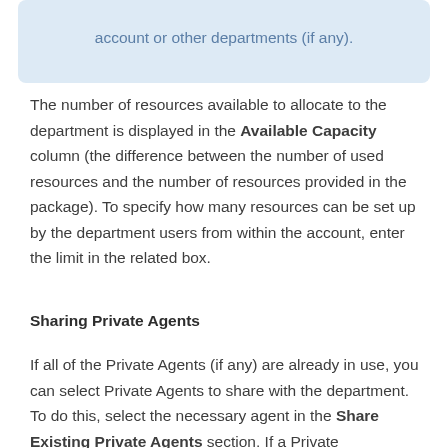account or other departments (if any).
The number of resources available to allocate to the department is displayed in the Available Capacity column (the difference between the number of used resources and the number of resources provided in the package). To specify how many resources can be set up by the department users from within the account, enter the limit in the related box.
Sharing Private Agents
If all of the Private Agents (if any) are already in use, you can select Private Agents to share with the department. To do this, select the necessary agent in the Share Existing Private Agents section. If a Private